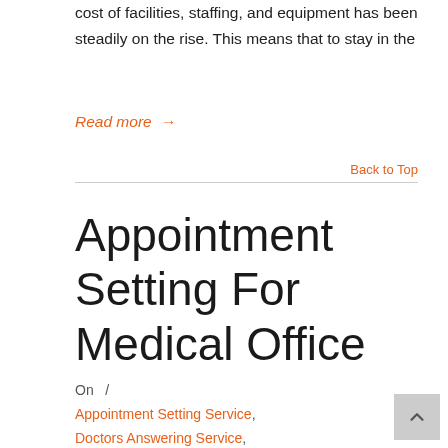cost of facilities, staffing, and equipment has been steadily on the rise. This means that to stay in the
Read more  →
Back to Top
Appointment Setting For Medical Office
On  /
Appointment Setting Service,
Doctors Answering Service,